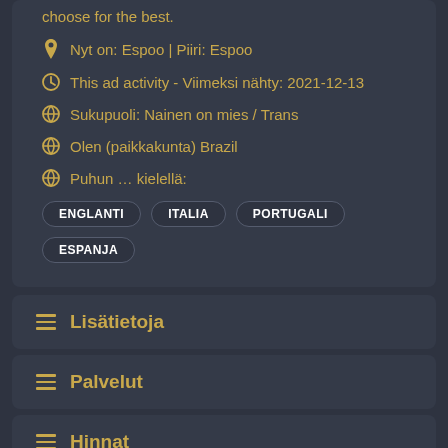choose for the best.
Nyt on: Espoo | Piiri: Espoo
This ad activity - Viimeksi nähty: 2021-12-13
Sukupuoli: Nainen on mies / Trans
Olen (paikkakunta) Brazil
Puhun … kielellä:
ENGLANTI
ITALIA
PORTUGALI
ESPANJA
Lisätietoja
Palvelut
Hinnat